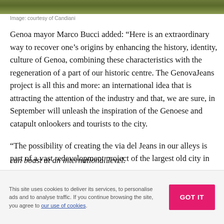[Figure (photo): Top image strip showing outdoor scene, courtesy of Candiani]
Image: courtesy of Candiani
Genoa mayor Marco Bucci added: “Here is an extraordinary way to recover one’s origins by enhancing the history, identity, culture of Genoa, combining these characteristics with the regeneration of a part of our historic centre. The GenovaJeans project is all this and more: an international idea that is attracting the attention of the industry and that, we are sure, in September will unleash the inspiration of the Genoese and catapult onlookers and tourists to the city.
“The possibility of creating the via del Jeans in our alleys is part of a vast redevelopment project of the largest old city in
can boast at an international level.
This site uses cookies to deliver its services, to personalise ads and to analyse traffic. If you continue browsing the site, you agree to our use of cookies.